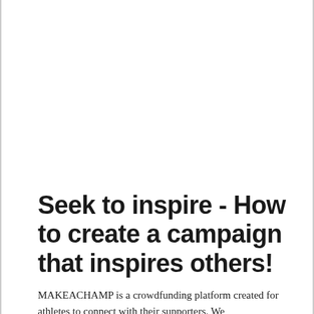Seek to inspire - How to create a campaign that inspires others!
MAKEACHAMP is a crowdfunding platform created for athletes to connect with their supporters. We